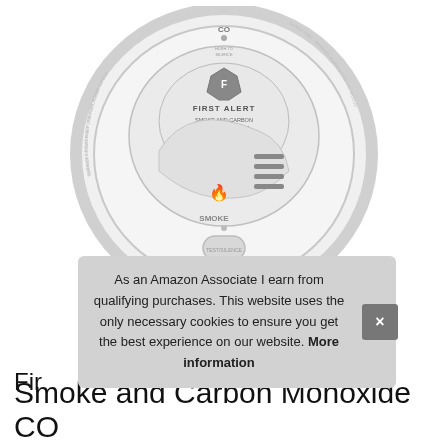[Figure (photo): First Alert Smoke and Carbon Monoxide Alarm device, circular white detector viewed from front, showing CO sensor at top, SMOKE sensor at bottom with speaker grille, FIRST ALERT logo in center, and a test/silence button at the bottom center.]
As an Amazon Associate I earn from qualifying purchases. This website uses the only necessary cookies to ensure you get the best experience on our website. More information
Fir
Smoke and Carbon Monoxide CO